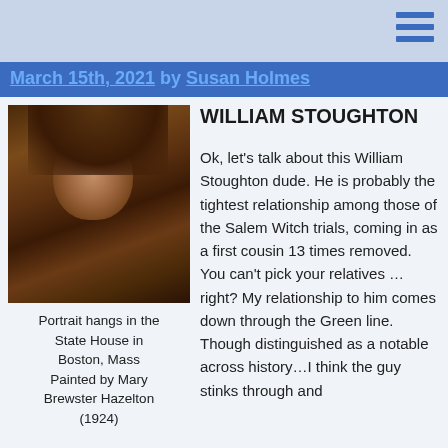March 15th, 2021 by Susan Holmes
[Figure (photo): Portrait painting of William Stoughton, a historical figure associated with the Salem Witch trials. The portrait is a dark oil painting.]
Portrait hangs in the State House in Boston, Mass Painted by Mary Brewster Hazelton (1924)
WILLIAM STOUGHTON
Ok, let’s talk about this William Stoughton dude. He is probably the tightest relationship among those of the Salem Witch trials, coming in as a first cousin 13 times removed. You can’t pick your relatives …right? My relationship to him comes down through the Green line. Though distinguished as a notable across history…I think the guy stinks through and